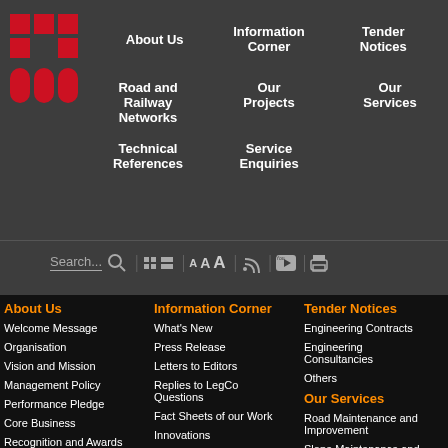[Figure (logo): Red geometric logo with grid/building shapes]
About Us | Information Corner | Tender Notices | Road and Railway Networks | Our Projects | Our Services | Technical References | Service Enquiries
About Us
Information Corner
Tender Notices
Welcome Message
What's New
Engineering Contracts
Organisation
Press Release
Engineering Consultancies
Vision and Mission
Letters to Editors
Others
Management Policy
Replies to LegCo Questions
Our Services
Performance Pledge
Fact Sheets of our Work
Road Maintenance and Improvement
Core Business
Innovations
Slope Maintenance and Improvement
Recognition and Awards
Advanced Surveying Technologies
Structures Maintenance
Annual Open Data Plans
Public Engagement
Annual Spatial Data Plan